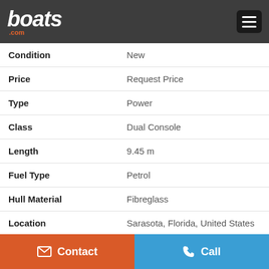boats.com
| Field | Value |
| --- | --- |
| Condition | New |
| Price | Request Price |
| Type | Power |
| Class | Dual Console |
| Length | 9.45 m |
| Fuel Type | Petrol |
| Hull Material | Fibreglass |
| Location | Sarasota, Florida, United States |
Measurements
Propulsion